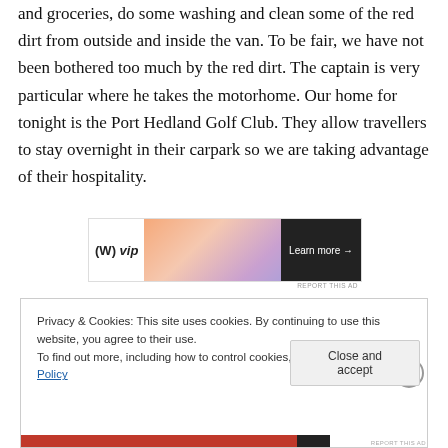and groceries, do some washing and clean some of the red dirt from outside and inside the van. To be fair, we have not been bothered too much by the red dirt. The captain is very particular where he takes the motorhome. Our home for tonight is the Port Hedland Golf Club. They allow travellers to stay overnight in their carpark so we are taking advantage of their hospitality.
[Figure (other): Advertisement banner with W VIP logo, gradient background in orange/pink/purple tones, and a 'Learn more →' button]
Privacy & Cookies: This site uses cookies. By continuing to use this website, you agree to their use.
To find out more, including how to control cookies, see here: Cookie Policy
Close and accept